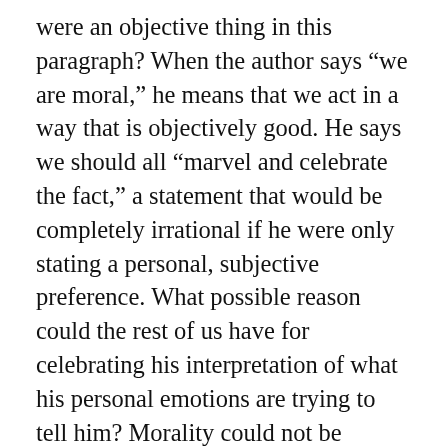were an objective thing in this paragraph? When the author says “we are moral,” he means that we act in a way that is objectively good. He says we should all “marvel and celebrate the fact,” a statement that would be completely irrational if he were only stating a personal, subjective preference. What possible reason could the rest of us have for celebrating his interpretation of what his personal emotions are trying to tell him? Morality could not be unequivocally good for our species unless there were an unequivocal, that is, objective good. No such object exists.  As far as babies are concerned, there is today a demonstrable lack of them among the “good” in the author’s ingroup. I suggest he travel to